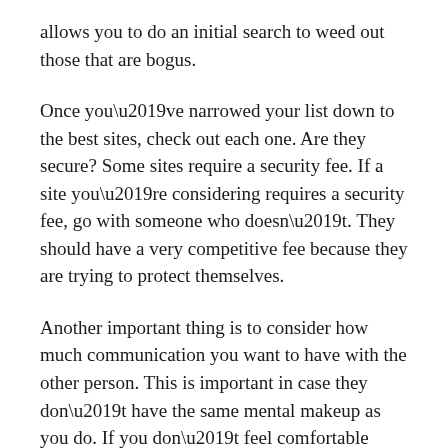allows you to do an initial search to weed out those that are bogus.
Once you’ve narrowed your list down to the best sites, check out each one. Are they secure? Some sites require a security fee. If a site you’re considering requires a security fee, go with someone who doesn’t. They should have a very competitive fee because they are trying to protect themselves.
Another important thing is to consider how much communication you want to have with the other person. This is important in case they don’t have the same mental makeup as you do. If you don’t feel comfortable chatting right away, find another online site.
Now that you’ve found the best sites, you need to figure out how to actually meet the person. The best way to go